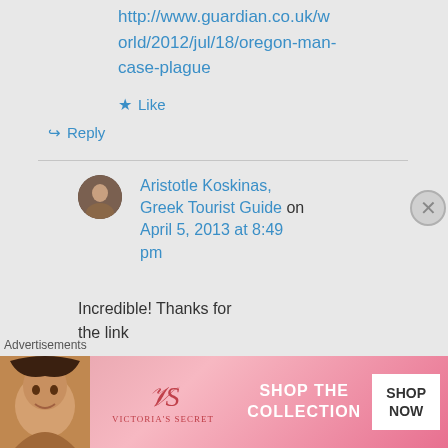http://www.guardian.co.uk/world/2012/jul/18/oregon-man-case-plague
Like
Reply
Aristotle Koskinas, Greek Tourist Guide on April 5, 2013 at 8:49 pm
Incredible! Thanks for the link
Advertisements